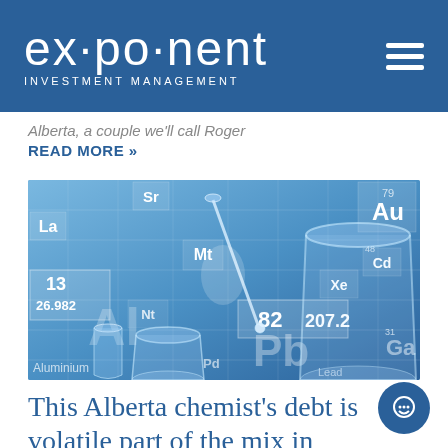ex·po·nent INVESTMENT MANAGEMENT
Alberta, a couple we'll call Roger
READ MORE »
[Figure (photo): Blue-tinted photograph of chemistry lab glassware (beakers, test tubes, pipette) overlaid with periodic table of elements. Visible element symbols and numbers include: La, Sr, Au, Mt, Xe, Cd, Ga, 13, 26.982, 82, 207.2, Pb (Platinum/Lead), Aluminium, 31.]
This Alberta chemist's debt is volatile part of the mix in